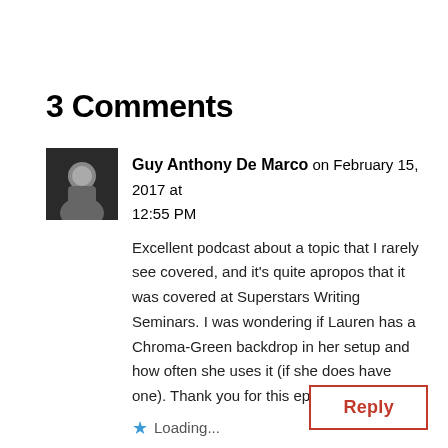3 Comments
Guy Anthony De Marco on February 15, 2017 at 12:55 PM
Excellent podcast about a topic that I rarely see covered, and it's quite apropos that it was covered at Superstars Writing Seminars. I was wondering if Lauren has a Chroma-Green backdrop in her setup and how often she uses it (if she does have one). Thank you for this episode, Mark.
Loading...
Reply